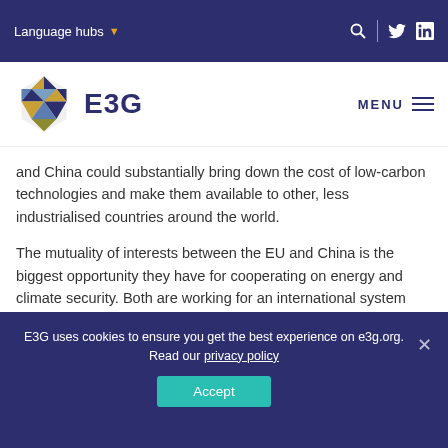Language hubs
[Figure (logo): E3G hexagonal logo with geometric pattern in blue, gold, and dark purple triangles]
E3G
and China could substantially bring down the cost of low-carbon technologies and make them available to other, less industrialised countries around the world.
The mutuality of interests between the EU and China is the biggest opportunity they have for cooperating on energy and climate security. Both are working for an international system based on cooperation and the rule of law, free from the domination of one single power. The EU has a strategic interest in building a relationship with
E3G uses cookies to ensure you get the best experience on e3g.org. Read our privacy policy